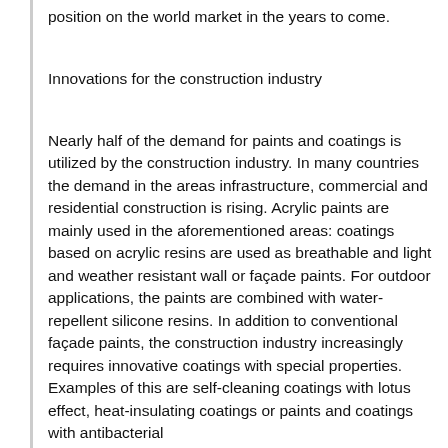position on the world market in the years to come.
Innovations for the construction industry
Nearly half of the demand for paints and coatings is utilized by the construction industry. In many countries the demand in the areas infrastructure, commercial and residential construction is rising. Acrylic paints are mainly used in the aforementioned areas: coatings based on acrylic resins are used as breathable and light and weather resistant wall or façade paints. For outdoor applications, the paints are combined with water-repellent silicone resins. In addition to conventional façade paints, the construction industry increasingly requires innovative coatings with special properties. Examples of this are self-cleaning coatings with lotus effect, heat-insulating coatings or paints and coatings with antibacterial